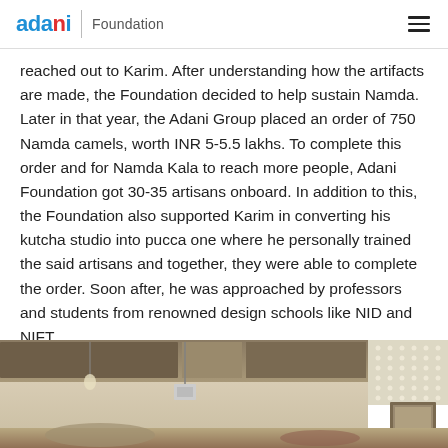adani Foundation
reached out to Karim. After understanding how the artifacts are made, the Foundation decided to help sustain Namda. Later in that year, the Adani Group placed an order of 750 Namda camels, worth INR 5-5.5 lakhs. To complete this order and for Namda Kala to reach more people, Adani Foundation got 30-35 artisans onboard. In addition to this, the Foundation also supported Karim in converting his kutcha studio into pucca one where he personally trained the said artisans and together, they were able to complete the order. Soon after, he was approached by professors and students from renowned design schools like NID and NIFT.
[Figure (photo): Interior photo of a workshop or studio space showing a tiled/wooden ceiling, whitewashed walls, an electrical box, a framed picture on the wall, and a light panel on the right side.]